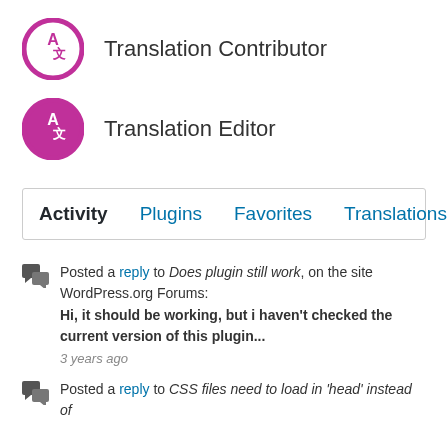Translation Contributor
Translation Editor
Activity  Plugins  Favorites  Translations
Posted a reply to Does plugin still work, on the site WordPress.org Forums: Hi, it should be working, but i haven't checked the current version of this plugin... 3 years ago
Posted a reply to CSS files need to load in 'head' instead of